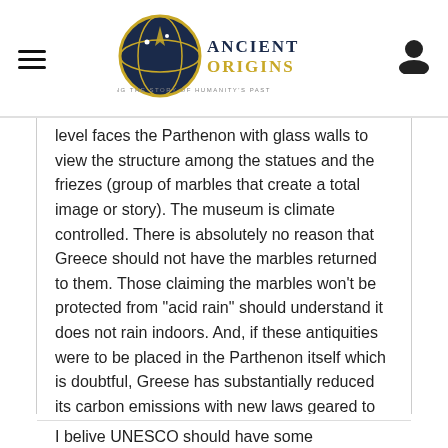Ancient Origins — Reconstructing the story of humanity's past
level faces the Parthenon with glass walls to view the structure among the statues and the friezes (group of marbles that create a total image or story). The museum is climate controlled. There is absolutely no reason that Greece should not have the marbles returned to them. Those claiming the marbles won't be protected from "acid rain" should understand it does not rain indoors. And, if these antiquities were to be placed in the Parthenon itself which is doubtful, Greese has substantially reduced its carbon emissions with new laws geared to slow climate
I belive UNESCO should have some